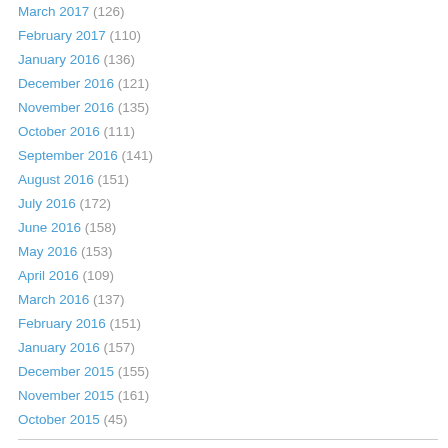March 2017 (126)
February 2017 (110)
January 2016 (136)
December 2016 (121)
November 2016 (135)
October 2016 (111)
September 2016 (141)
August 2016 (151)
July 2016 (172)
June 2016 (158)
May 2016 (153)
April 2016 (109)
March 2016 (137)
February 2016 (151)
January 2016 (157)
December 2015 (155)
November 2015 (161)
October 2015 (45)